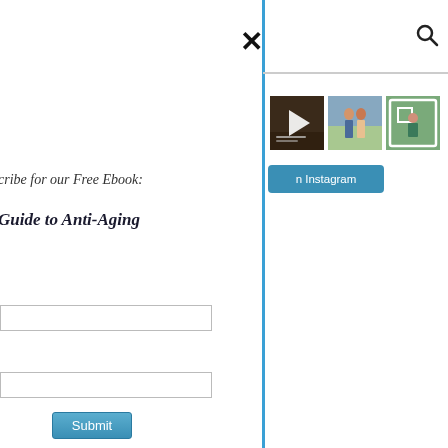×
[Figure (screenshot): Search icon (magnifying glass) in top right]
cribe for our Free Ebook:
Guide to Anti-Aging
[Figure (screenshot): Three Instagram photos: a video thumbnail, a couple standing outdoors, a woman in green]
n Instagram
[Figure (screenshot): Email input field 1]
[Figure (screenshot): Email input field 2]
Submit
We respect your email privacy